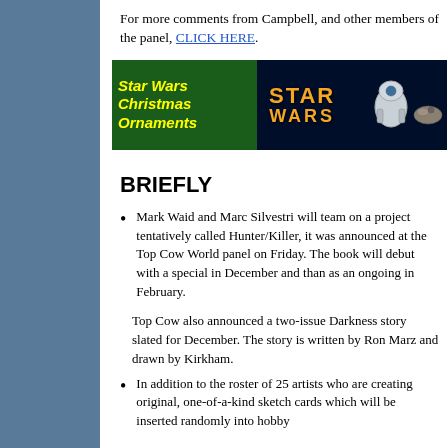For more comments from Campbell, and other members of the panel, CLICK HERE.
[Figure (illustration): Star Wars Christmas Ornaments banner advertisement with yellow italic text on green background, Star Wars logo in orange, R2-D2 and Millennium Falcon against a dark starfield]
BRIEFLY
Mark Waid and Marc Silvestri will team on a project tentatively called Hunter/Killer, it was announced at the Top Cow World panel on Friday. The book will debut with a special in December and than as an ongoing in February.
Top Cow also announced a two-issue Darkness story slated for December. The story is written by Ron Marz and drawn by Kirkham.
In addition to the roster of 25 artists who are creating original, one-of-a-kind sketch cards which will be inserted randomly into hobby